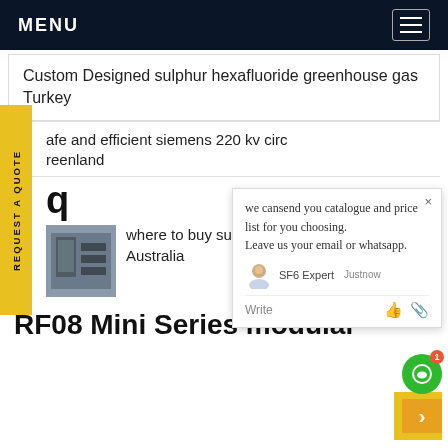MENU
Custom Designed sulphur hexafluoride greenhouse gas Turkey
afe and efficient siemens 220 kv circ
reenland
[Figure (screenshot): Chat popup window with message: we cansend you catalogue and price list for you choosing. Leave us your email or whatsapp. SF6 Expert justnow]
where to buy sulfur hexafluoride buy online Australia
RF08 Mini Series modular